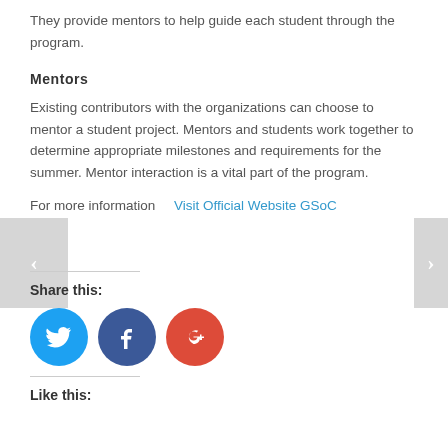They provide mentors to help guide each student through the program.
Mentors
Existing contributors with the organizations can choose to mentor a student project. Mentors and students work together to determine appropriate milestones and requirements for the summer. Mentor interaction is a vital part of the program.
For more information   Visit Official Website GSoC
Share this:
[Figure (other): Social share icons: Twitter (blue circle), Facebook (dark blue circle), Google+ (red circle)]
Like this: